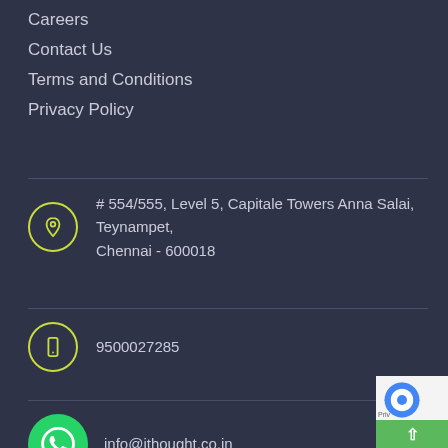Careers
Contact Us
Terms and Conditions
Privacy Policy
# 554/555, Level 5, Capitale Towers Anna Salai, Teynampet, Chennai - 600018
9500027285
info@ithought.co.in